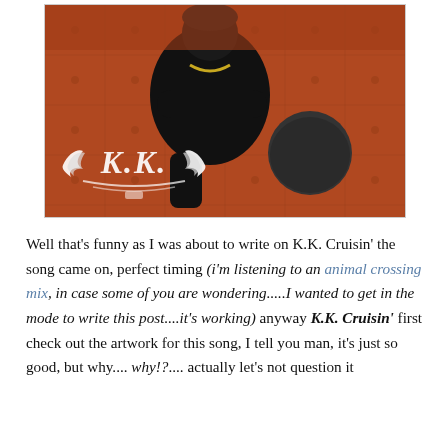[Figure (photo): Album artwork photo showing a person in dark clothing and a beanie hat sitting on a brown leather couch with legs raised, with a stylized 'K.K.' logo/graphic overlaid in the lower left of the image]
Well that's funny as I was about to write on K.K. Cruisin' the song came on, perfect timing (i'm listening to an animal crossing mix, in case some of you are wondering.....I wanted to get in the mode to write this post....it's working) anyway K.K. Cruisin' first check out the artwork for this song, I tell you man, it's just so good, but why.... why!?.... actually let's not question it